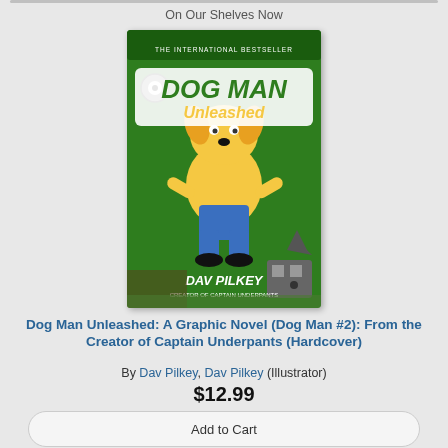On Our Shelves Now
[Figure (illustration): Book cover of Dog Man Unleashed by Dav Pilkey - green background with cartoon Dog Man character running]
Dog Man Unleashed: A Graphic Novel (Dog Man #2): From the Creator of Captain Underpants (Hardcover)
By Dav Pilkey, Dav Pilkey (Illustrator)
$12.99
Add to Cart
On Our Shelves Now
[Figure (illustration): Book cover of Dog Man Fetch-22 by Dav Pilkey - purple background with cartoon Dog Man character holding a net]